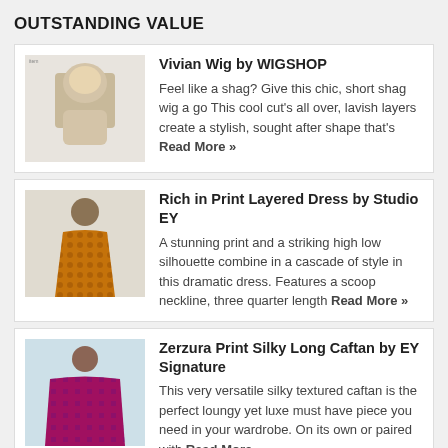OUTSTANDING VALUE
Vivian Wig by WIGSHOP — Feel like a shag? Give this chic, short shag wig a go This cool cut's all over, lavish layers create a stylish, sought after shape that's Read More »
Rich in Print Layered Dress by Studio EY — A stunning print and a striking high low silhouette combine in a cascade of style in this dramatic dress. Features a scoop neckline, three quarter length Read More »
Zerzura Print Silky Long Caftan by EY Signature — This very versatile silky textured caftan is the perfect loungy yet luxe must have piece you need in your wardrobe. On its own or paired with Read More »
Georgina Lace Front Monofilament Wig by Revlon — Lace front shag wig with a monofilament top and feathery,